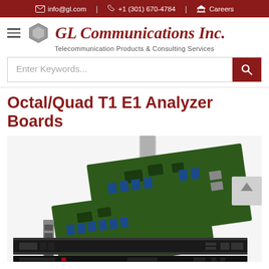info@gl.com | +1 (301) 670-4784 | Careers
[Figure (logo): GL Communications Inc. logo with hexagonal icon, hamburger menu icon, company name in red italic serif font, and tagline 'Telecommunication Products & Consulting Services']
[Figure (screenshot): Search bar with placeholder 'Enter Keywords...' and red search button with magnifying glass icon]
Octal/Quad T1 E1 Analyzer Boards
[Figure (photo): Product photo showing PCIe T1/E1 analyzer boards (green circuit boards with blue connectors and RJ45 ports) alongside rack-mounted black hardware units]